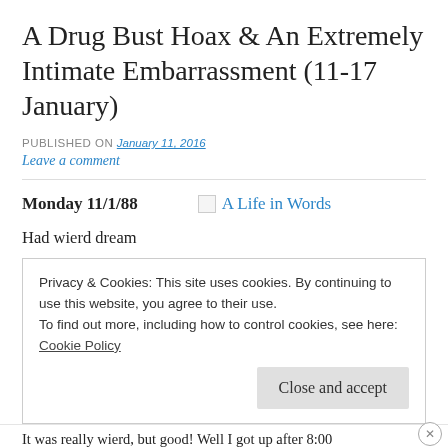A Drug Bust Hoax & An Extremely Intimate Embarrassment (11-17 January)
PUBLISHED ON January 11, 2016
Leave a comment
Monday 11/1/88   A Life in Words
Had wierd dream
Privacy & Cookies: This site uses cookies. By continuing to use this website, you agree to their use.
To find out more, including how to control cookies, see here:
Cookie Policy
Close and accept
It was really wierd, but good! Well I got up after 8:00